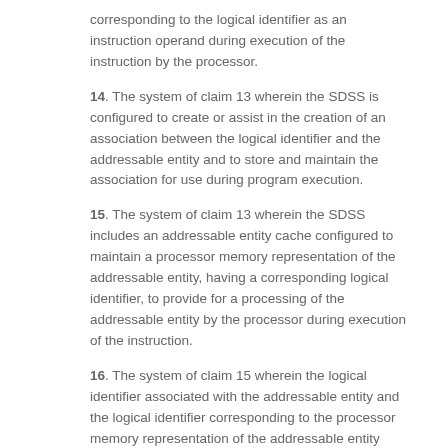corresponding to the logical identifier as an instruction operand during execution of the instruction by the processor.
14. The system of claim 13 wherein the SDSS is configured to create or assist in the creation of an association between the logical identifier and the addressable entity and to store and maintain the association for use during program execution.
15. The system of claim 13 wherein the SDSS includes an addressable entity cache configured to maintain a processor memory representation of the addressable entity, having a corresponding logical identifier, to provide for a processing of the addressable entity by the processor during execution of the instruction.
16. The system of claim 15 wherein the logical identifier associated with the addressable entity and the logical identifier corresponding to the processor memory representation of the addressable entity form an identifier space for supporting program execution within the execution environment.